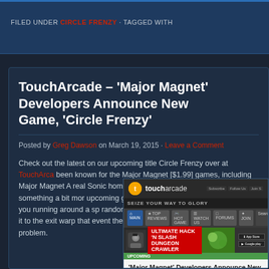FILED UNDER CIRCLE FRENZY · TAGGED WITH
TouchArcade – 'Major Magnet' Developers Announce New Game, 'Circle Frenzy'
Posted by Greg Dawson on March 19, 2015 · Leave a Comment
Check out the latest on our upcoming title Circle Frenzy over at TouchArcade. been known for the Major Magnet [$1.99] games, including Major Magnet A real Sonic homage quality to them. Now, they're doing something a bit mor upcoming game Circle Frenzy. This one will have you running around a sp randomly-generated traps, and trying to make it to the exit warp that event the planet's going to explode! That is a problem.
[Figure (screenshot): Screenshot of TouchArcade website showing article: 'Major Magnet' Developers Announce New Game, 'Circle Frenzy']